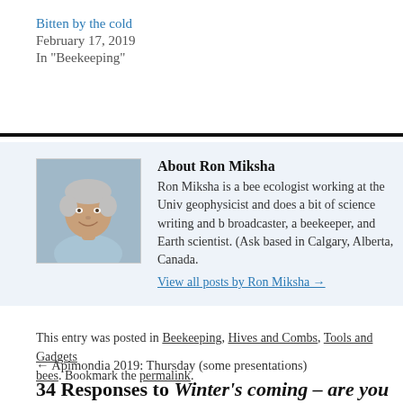Bitten by the cold
February 17, 2019
In "Beekeeping"
[Figure (photo): Portrait photo of Ron Miksha, a middle-aged man with grey hair, smiling, wearing a light blue shirt, outdoors]
About Ron Miksha
Ron Miksha is a bee ecologist working at the Univ... geophysicist and does a bit of science writing and b... broadcaster, a beekeeper, and Earth scientist. (Ask... based in Calgary, Alberta, Canada.
View all posts by Ron Miksha →
This entry was posted in Beekeeping, Hives and Combs, Tools and Gadgets... bees. Bookmark the permalink.
← Apimondia 2019: Thursday (some presentations)
34 Responses to Winter's coming – are you...